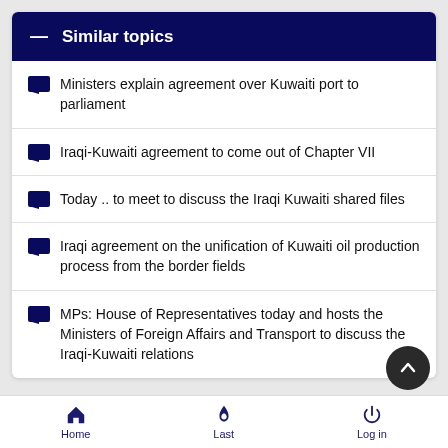Similar topics
Ministers explain agreement over Kuwaiti port to parliament
Iraqi-Kuwaiti agreement to come out of Chapter VII
Today .. to meet to discuss the Iraqi Kuwaiti shared files
Iraqi agreement on the unification of Kuwaiti oil production process from the border fields
MPs: House of Representatives today and hosts the Ministers of Foreign Affairs and Transport to discuss the Iraqi-Kuwaiti relations
Home  Last  Log in